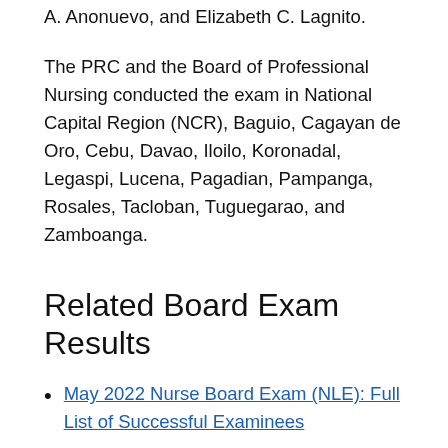A. Anonuevo, and Elizabeth C. Lagnito.
The PRC and the Board of Professional Nursing conducted the exam in National Capital Region (NCR), Baguio, Cagayan de Oro, Cebu, Davao, Iloilo, Koronadal, Legaspi, Lucena, Pagadian, Pampanga, Rosales, Tacloban, Tuguegarao, and Zamboanga.
Related Board Exam Results
May 2022 Nurse Board Exam (NLE): Full List of Successful Examinees
TOP SCHOOLS: Nurse Board Exam (NLE)